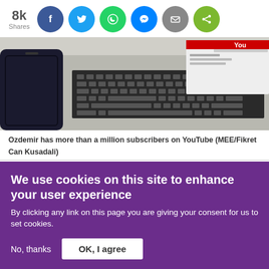[Figure (infographic): Social share bar showing 8k Shares, with social media icons for Facebook (dark blue), Twitter (light blue), WhatsApp (green), Messenger (blue), Email (grey), and Share (green)]
[Figure (photo): Photo of a laptop keyboard with a smartphone beside it, and a YouTube page visible on the laptop screen]
Ozdemir has more than a million subscribers on YouTube (MEE/Fikret Can Kusadali)
Dogan, the academic, thinks his messaging cannot be described as balanced or independent because his main
We use cookies on this site to enhance your user experience
By clicking any link on this page you are giving your consent for us to set cookies.
No, thanks  OK, I agree